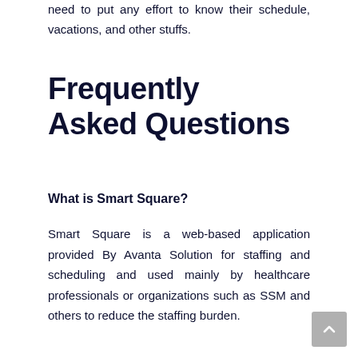need to put any effort to know their schedule, vacations, and other stuffs.
Frequently Asked Questions
What is Smart Square?
Smart Square is a web-based application provided By Avanta Solution for staffing and scheduling and used mainly by healthcare professionals or organizations such as SSM and others to reduce the staffing burden.